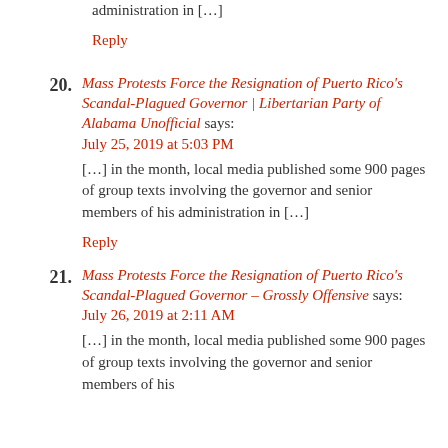administration in […]
Reply
20. Mass Protests Force the Resignation of Puerto Rico's Scandal-Plagued Governor | Libertarian Party of Alabama Unofficial says: July 25, 2019 at 5:03 PM […] in the month, local media published some 900 pages of group texts involving the governor and senior members of his administration in […]
Reply
21. Mass Protests Force the Resignation of Puerto Rico's Scandal-Plagued Governor – Grossly Offensive says: July 26, 2019 at 2:11 AM […] in the month, local media published some 900 pages of group texts involving the governor and senior members of his